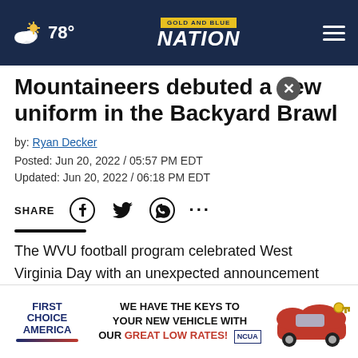78° Gold and Blue Nation
Mountaineers debuted a new uniform in the Backyard Brawl
by: Ryan Decker
Posted: Jun 20, 2022 / 05:57 PM EDT
Updated: Jun 20, 2022 / 06:18 PM EDT
SHARE
The WVU football program celebrated West Virginia Day with an unexpected announcement Monday.
West Virginia unveiled a brand new Nike Country Roads Uniform.
Dante Stills and flullulur will wear the new uniform
[Figure (screenshot): First Choice America advertisement: WE HAVE THE KEYS TO YOUR NEW VEHICLE WITH OUR GREAT LOW RATES! with NCUA logo and red car image]